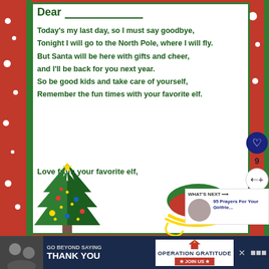[Figure (illustration): Christmas letter template with red border, green accents, white card interior, Christmas tree and Santa's sleigh decorations at bottom]
Dear ___
Today's my last day, so I must say goodbye,
Tonight I will go to the North Pole, where I will fly.
But Santa will be here with gifts and cheer,
and I'll be back for you next year.
So be good kids and take care of yourself,
Remember the fun times with your favorite elf.
Love from your favorite elf,
[Figure (infographic): What's Next panel showing 95 Prayers For Your Girlfrie... with a small thumbnail]
[Figure (infographic): Advertisement banner: GO BEYOND SAYING THANK YOU - Operation Gratitude JOIN US]